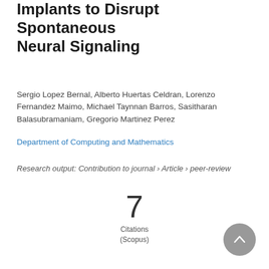Implants to Disrupt Spontaneous Neural Signaling
Sergio Lopez Bernal, Alberto Huertas Celdran, Lorenzo Fernandez Maimo, Michael Taynnan Barros, Sasitharan Balasubramaniam, Gregorio Martinez Perez
Department of Computing and Mathematics
Research output: Contribution to journal › Article › peer-review
7
Citations
(Scopus)